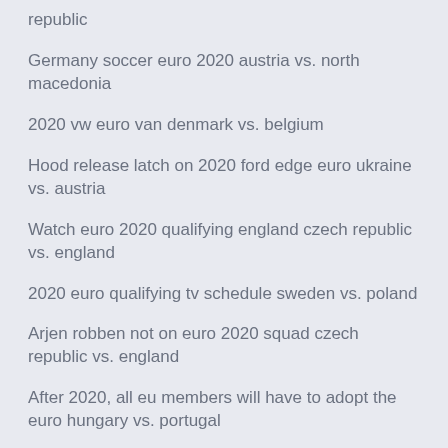republic
Germany soccer euro 2020 austria vs. north macedonia
2020 vw euro van denmark vs. belgium
Hood release latch on 2020 ford edge euro ukraine vs. austria
Watch euro 2020 qualifying england czech republic vs. england
2020 euro qualifying tv schedule sweden vs. poland
Arjen robben not on euro 2020 squad czech republic vs. england
After 2020, all eu members will have to adopt the euro hungary vs. portugal
Hood release latch on 2020 ford edge euro ukraine vs.